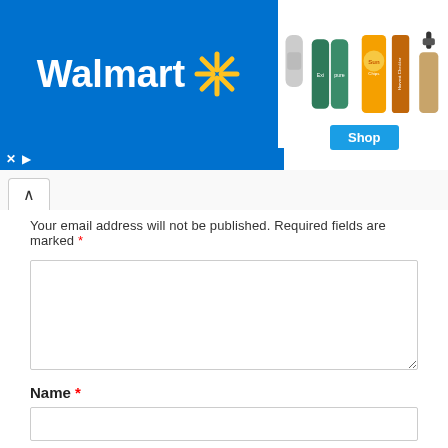[Figure (screenshot): Walmart advertisement banner with blue background showing Walmart logo and product images including PS5 controller, Exipure supplements, Sun Chips, and a soap dispenser]
Your email address will not be published. Required fields are marked *
Name *
Email *